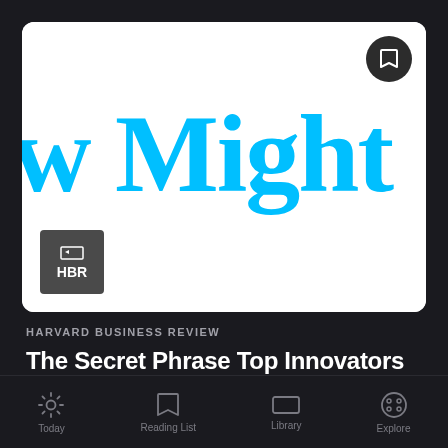[Figure (screenshot): Article card thumbnail showing large cyan serif text 'w Might' on white background with HBR badge in bottom-left corner and bookmark button in top-right corner]
HARVARD BUSINESS REVIEW
The Secret Phrase Top Innovators Use
[Figure (other): Mobile app bottom navigation bar with icons: Today, Reading List, Library, Explore]